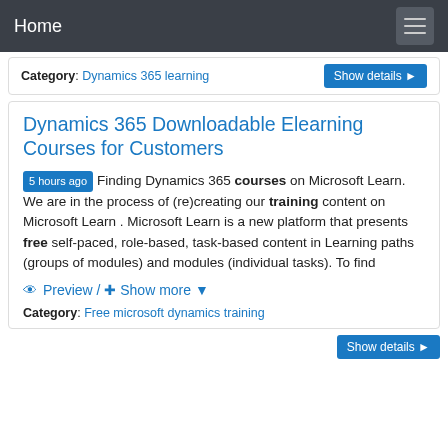Home
Category: Dynamics 365 learning
Dynamics 365 Downloadable Elearning Courses for Customers
5 hours ago Finding Dynamics 365 courses on Microsoft Learn. We are in the process of (re)creating our training content on Microsoft Learn . Microsoft Learn is a new platform that presents free self-paced, role-based, task-based content in Learning paths (groups of modules) and modules (individual tasks). To find
Preview / Show more
Category: Free microsoft dynamics training